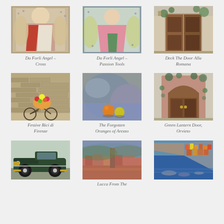[Figure (illustration): Mosaic artwork of an angel in red and white robes - Da Forli Angel Cross]
Da Forli Angel – Cross
[Figure (illustration): Mosaic artwork of an angel in pink robes with tools - Da Forli Angel Passion Tools]
Da Forli Angel – Passion Tools
[Figure (illustration): Painting of a large wooden double door with ivy - Deck The Door Alla Romana]
Deck The Door Alla Romana
[Figure (illustration): Painting of a bicycle loaded with flowers against a stone wall - Festive Bici di Firenze]
Festive Bici di Firenze
[Figure (illustration): Painting of oranges on a table with rocks - The Forgotten Oranges of Arezzo]
The Forgotten Oranges of Arezzo
[Figure (illustration): Painting of an arched wooden door with green lantern - Green Lantern Door, Orvieto]
Green Lantern Door, Orvieto
[Figure (illustration): Painting of a vintage dark green convertible car]
[Figure (illustration): Aerial painting of Lucca from the top]
Lucca From The
[Figure (illustration): Painting of colorful buildings by the water - Cinque Terre or similar coastal village]